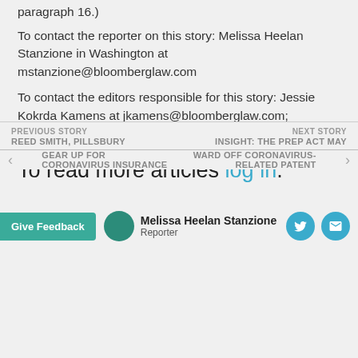paragraph 16.)
To contact the reporter on this story: Melissa Heelan Stanzione in Washington at mstanzione@bloomberglaw.com
To contact the editors responsible for this story: Jessie Kokrda Kamens at jkamens@bloomberglaw.com; Rebekah Mintzer at rmintzer@bloomberglaw.com
To read more articles log in.
Learn more about a Bloomberg Law subscription.
PREVIOUS STORY | REED SMITH, PILLSBURY | GEAR UP FOR | CORONAVIRUS INSURANCE | NEXT STORY | INSIGHT: THE PREP ACT MAY | WARD OFF CORONAVIRUS-RELATED PATENT
Melissa Heelan Stanzione
Reporter